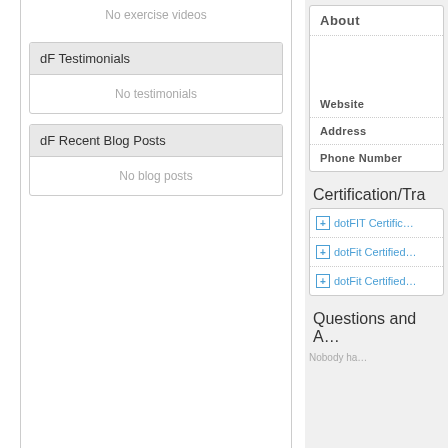No exercise videos
dF Testimonials
No testimonials
dF Recent Blog Posts
No blog posts
About
Website
Address
Phone Number
Certification/Tr…
dotFIT Certific…
dotFit Certified…
dotFit Certified…
Questions and A…
Nobody ha…